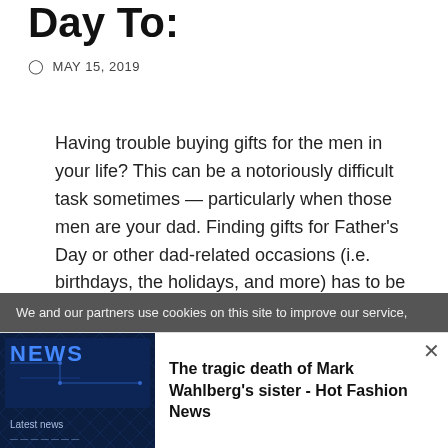Day To:
MAY 15, 2019
Having trouble buying gifts for the men in your life? This can be a notoriously difficult task sometimes — particularly when those men are your dad. Finding gifts for Father's Day or other dad-related occasions (i.e. birthdays, the holidays, and more) has to be one of the worst ways to spend an afternoon. (I mean, I'm sure
We and our partners use cookies on this site to improve our service,
[Figure (photo): News image with blue-tinted media background showing 'NEWS' and 'Latest news' text overlay]
The tragic death of Mark Wahlberg's sister - Hot Fashion News